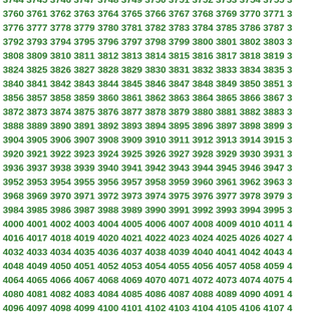Sequential numbers from approximately 3744 to 4123, arranged in rows of 13, in green bold text.